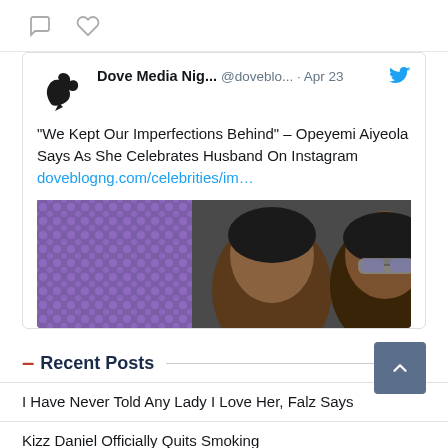[Figure (screenshot): Twitter/X tweet card from Dove Media Nig... (@doveblo...) posted Apr 23, with a dove bird logo avatar, tweet text about 'We Kept Our Imperfections Behind' – Opeyemi Aiyeola article, with a link and a partial photo of two people]
— Recent Posts
I Have Never Told Any Lady I Love Her, Falz Says
Kizz Daniel Officially Quits Smoking
“We Kept Our Imperfections Behind” – Opeyemi Aiyeola Says As She Celebrates Husband On Instagram
Mr Macaroni Engaged Mummy Wa, Released Engagement